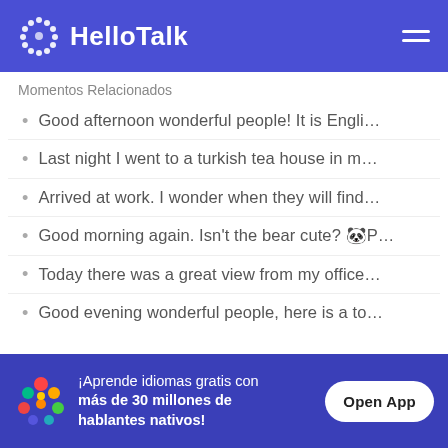HelloTalk
Momentos Relacionados
Good afternoon wonderful people! It is Engli…
Last night I went to a turkish tea house in m…
Arrived at work. I wonder when they will find…
Good morning again. Isn't the bear cute? 🐼P…
Today there was a great view from my office…
Good evening wonderful people, here is a to…
¡Aprende idiomas gratis con más de 30 millones de hablantes nativos!
Open App